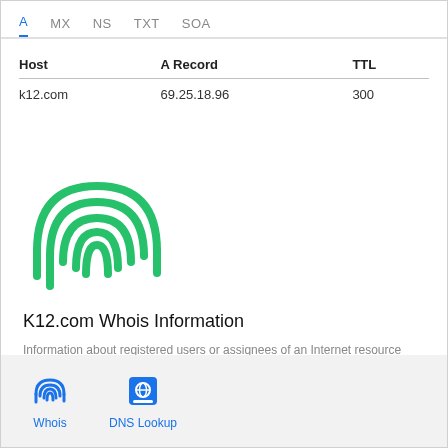A   MX   NS   TXT   SOA
| Host | A Record | TTL |
| --- | --- | --- |
| k12.com | 69.25.18.96 | 300 |
[Figure (illustration): Green fingerprint icon]
K12.com Whois Information
Information about registered users or assignees of an Internet resource (Rescan now...)
Raw WHOIS data: ▼
[Figure (other): Bottom navigation bar with Whois and DNS Lookup icons]